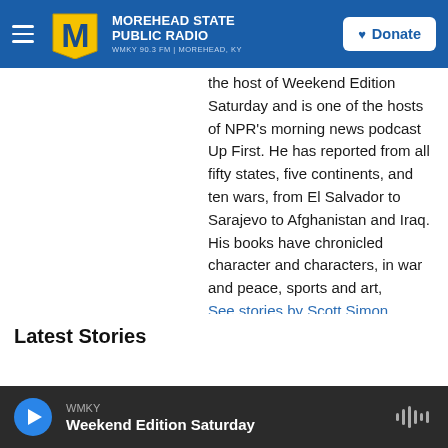Morehead State Public Radio — WMKY 90.3 FM | Morehead, KY — Donate
the host of Weekend Edition Saturday and is one of the hosts of NPR's morning news podcast Up First. He has reported from all fifty states, five continents, and ten wars, from El Salvador to Sarajevo to Afghanistan and Iraq. His books have chronicled character and characters, in war and peace, sports and art, tragedy and comedy.
See stories by Scott Simon
Latest Stories
WMKY — Weekend Edition Saturday